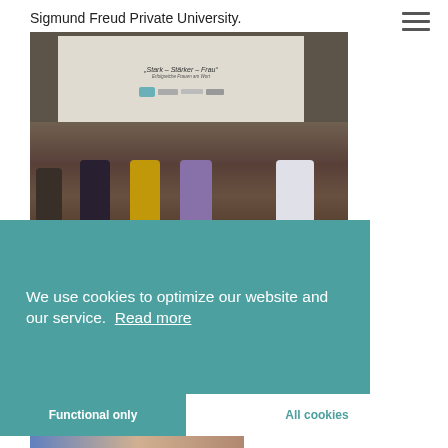Sigmund Freud Private University.
[Figure (photo): Panel event photo showing five women seated on stage in front of a projection screen displaying 'Stark – Stärker – Frau' with subtitle 'Erfolgreiche Frauen am Wort' and sponsor logos]
[Figure (photo): Close-up photo of a woman wearing a blue headscarf/hijab]
We use cookies to optimize our website and our service.  Read more
Functional only
All cookies